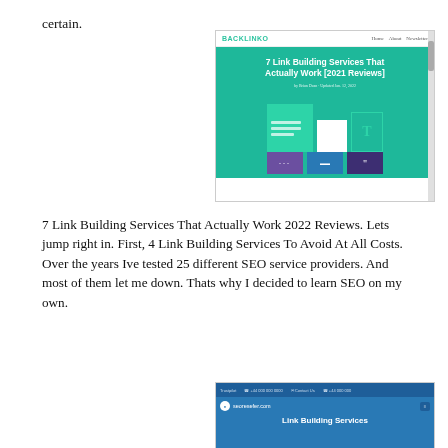certain.
[Figure (screenshot): Screenshot of Backlinko website showing article titled '7 Link Building Services That Actually Work [2021 Reviews]' with teal/green hero section and graphic elements]
7 Link Building Services That Actually Work 2022 Reviews. Lets jump right in. First, 4 Link Building Services To Avoid At All Costs. Over the years Ive tested 25 different SEO service providers. And most of them let me down. Thats why I decided to learn SEO on my own.
[Figure (screenshot): Screenshot of seoresefer.com website showing 'Link Building Services' in blue hero section]